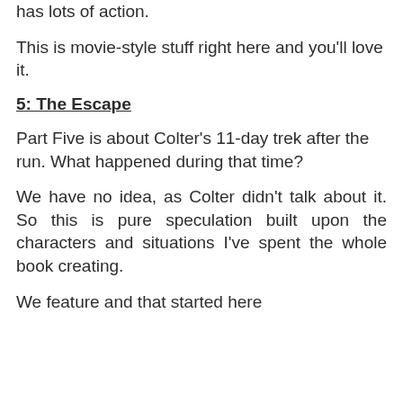has lots of action.
This is movie-style stuff right here and you'll love it.
5: The Escape
Part Five is about Colter's 11-day trek after the run. What happened during that time?
We have no idea, as Colter didn't talk about it. So this is pure speculation built upon the characters and situations I've spent the whole book creating.
We feature and that started here